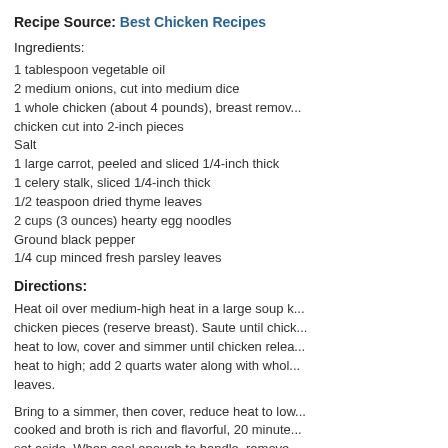Recipe Source: Best Chicken Recipes
Ingredients:
1 tablespoon vegetable oil
2 medium onions, cut into medium dice
1 whole chicken (about 4 pounds), breast removed, chicken cut into 2-inch pieces
Salt
1 large carrot, peeled and sliced 1/4-inch thick
1 celery stalk, sliced 1/4-inch thick
1/2 teaspoon dried thyme leaves
2 cups (3 ounces) hearty egg noodles
Ground black pepper
1/4 cup minced fresh parsley leaves
Directions:
Heat oil over medium-high heat in a large soup k... chicken pieces (reserve breast). Saute until chick... heat to low, cover and simmer until chicken relea... heat to high; add 2 quarts water along with whol... leaves.
Bring to a simmer, then cover, reduce heat to low... cooked and broth is rich and flavorful, 20 minute... set aside. When cool enough to handle, remove... bones and shred into bite-size pieces; discard sk... and discard any remaining chicken pieces and b... tablespoons. (Broth and meat can be covered ar... kettle to medium-high heat.